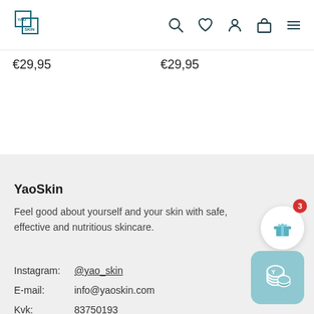YaoSkin navigation header with logo and icons
€29,95   €29,95
YaoSkin
Feel good about yourself and your skin with safe, effective and nutritious skincare.
Instagram: @yao_skin
E-mail: info@yaoskin.com
Kvk: 83750193